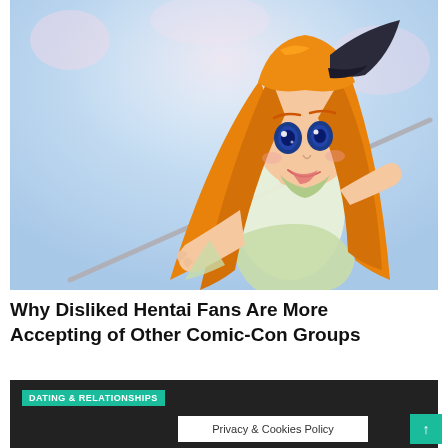[Figure (illustration): Anime-style illustration of a female character with long orange hair, large blue eyes, wearing a light green outfit and holding a staff/rod, set against a light blue background]
Why Disliked Hentai Fans Are More Accepting of Other Comic-Con Groups
[Figure (photo): Dark-toned article card with 'DATING & RELATIONSHIPS' teal badge, a privacy & cookies policy overlay, and a teal scroll-to-top button]